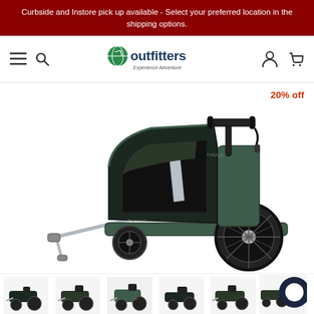Curbside and Instore pick up available - Select your preferred location in the shipping options.
[Figure (logo): Outfitters Experience Adventure logo with navigation icons (hamburger menu, search, user, cart)]
[Figure (photo): Thule Chariot Cross 2 child bike trailer / stroller in dark green/black with silver frame and bike hitch attachment. 20% off badge in top right.]
[Figure (photo): Thumbnail strip showing 6 product variant photos of the Thule Chariot trailer in different configurations, with the third thumbnail active (underlined). A large dark navy circular icon (magnifier/zoom) visible at far right.]